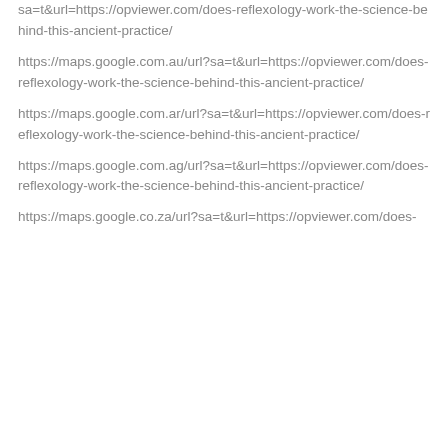sa=t&url=https://opviewer.com/does-reflexology-work-the-science-behind-this-ancient-practice/
https://maps.google.com.au/url?sa=t&url=https://opviewer.com/does-reflexology-work-the-science-behind-this-ancient-practice/
https://maps.google.com.ar/url?sa=t&url=https://opviewer.com/does-reflexology-work-the-science-behind-this-ancient-practice/
https://maps.google.com.ag/url?sa=t&url=https://opviewer.com/does-reflexology-work-the-science-behind-this-ancient-practice/
https://maps.google.co.za/url?sa=t&url=https://opviewer.com/does-...